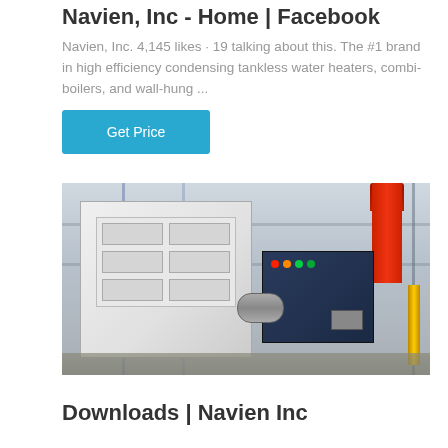Navien, Inc - Home | Facebook
Navien, Inc. 4,145 likes · 19 talking about this. The #1 brand in high efficiency condensing tankless water heaters, combi-boilers, and wall-hung ...
[Figure (photo): Industrial boiler/heating equipment in a factory or mechanical room setting. Large white cabinet unit on the left, dark blue control panel in the center, red cylindrical stack on the right, yellow pipe visible at far right. Steel frame scaffolding in background.]
Downloads | Navien Inc